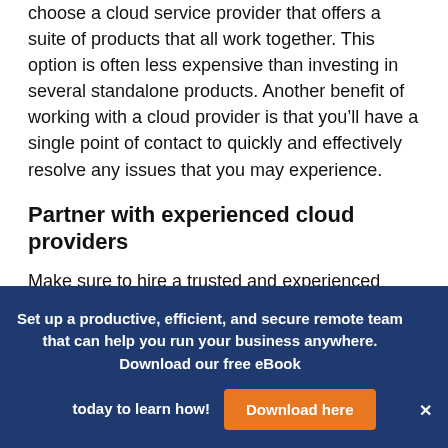choose a cloud service provider that offers a suite of products that all work together. This option is often less expensive than investing in several standalone products. Another benefit of working with a cloud provider is that you'll have a single point of contact to quickly and effectively resolve any issues that you may experience.
Partner with experienced cloud providers
Make sure to hire a trusted and experienced integration consultant to help facilitate a smooth transition. This is essential as integration mishaps can cause serious downtime and also cost a lot of money.
Set up a productive, efficient, and secure remote team that can help you run your business anywhere. Download our free eBook today to learn how! [Download here]